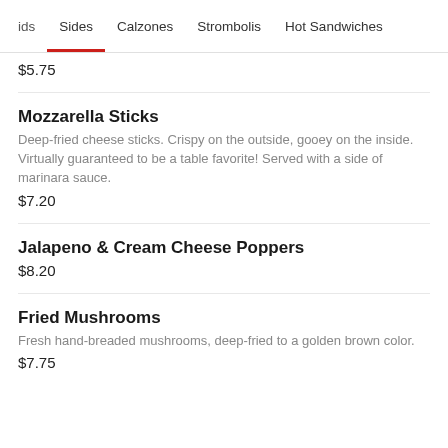ids  Sides  Calzones  Strombolis  Hot Sandwiches
$5.75
Mozzarella Sticks
Deep-fried cheese sticks. Crispy on the outside, gooey on the inside. Virtually guaranteed to be a table favorite! Served with a side of marinara sauce.
$7.20
Jalapeno & Cream Cheese Poppers
$8.20
Fried Mushrooms
Fresh hand-breaded mushrooms, deep-fried to a golden brown color.
$7.75